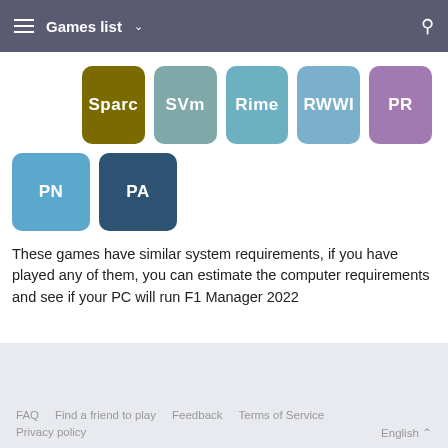Games list
[Figure (other): Game tiles row 1: Sparc (olive), SVm (teal), Rime (light blue), RWWI (blue), PR (purple)]
[Figure (other): Game tiles row 2: PN (sky blue), PA (dark blue)]
These games have similar system requirements, if you have played any of them, you can estimate the computer requirements and see if your PC will run F1 Manager 2022
FAQ  Find a friend to play  Feedback  Terms of Service  Privacy policy  English